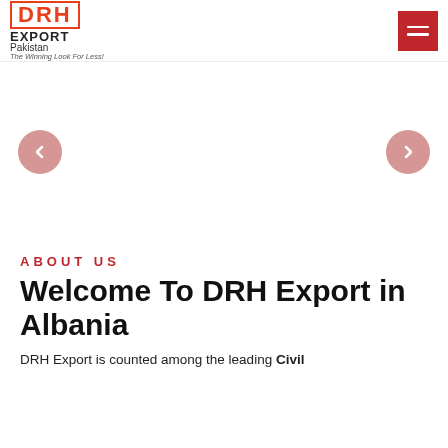[Figure (logo): DRH Export Pakistan logo with tagline 'The Winning Look For Less!']
[Figure (screenshot): Website screenshot with hamburger menu icon (red background, white lines) in top right corner]
[Figure (other): Carousel slider area with left and right navigation arrow buttons (muted red circles with chevron icons)]
ABOUT US
Welcome To DRH Export in Albania
DRH Export is counted among the leading Civil